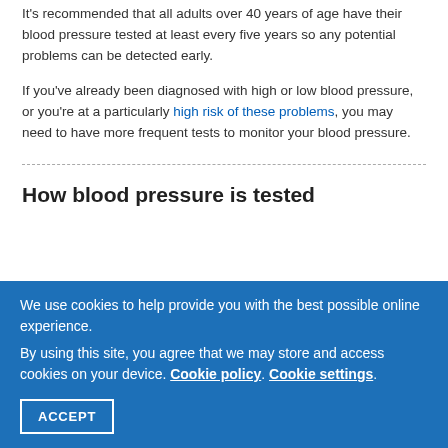It's recommended that all adults over 40 years of age have their blood pressure tested at least every five years so any potential problems can be detected early.
If you've already been diagnosed with high or low blood pressure, or you're at a particularly high risk of these problems, you may need to have more frequent tests to monitor your blood pressure.
How blood pressure is tested
[partially obscured] blood pressure ... [obscured by cookie banner]
Cookie banner: We use cookies to help provide you with the best possible online experience. By using this site, you agree that we may store and access cookies on your device. Cookie policy. Cookie settings. ACCEPT